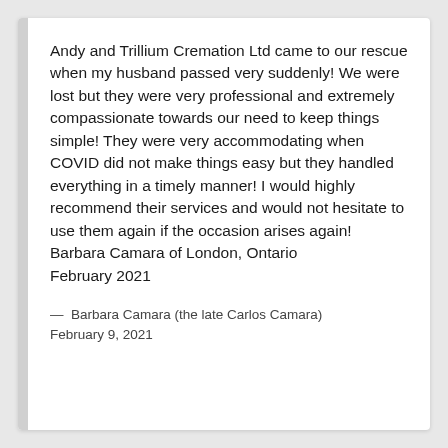Andy and Trillium Cremation Ltd came to our rescue when my husband passed very suddenly! We were lost but they were very professional and extremely compassionate towards our need to keep things simple! They were very accommodating when COVID did not make things easy but they handled everything in a timely manner! I would highly recommend their services and would not hesitate to use them again if the occasion arises again! Barbara Camara of London, Ontario February 2021
— Barbara Camara (the late Carlos Camara) February 9, 2021